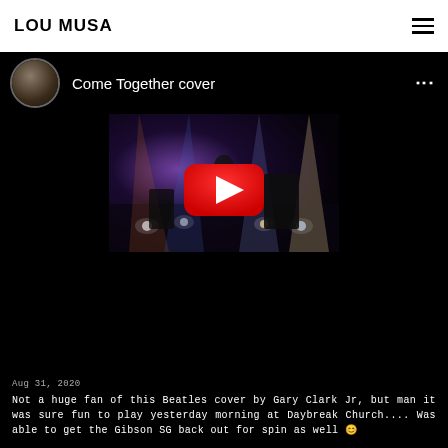LOU MUSA
Come Together cover
[Figure (screenshot): Embedded YouTube video thumbnail showing a live concert stage scene with colored stage lights. A red YouTube play button is centered on the thumbnail. Performer visible on stage with lighting equipment.]
Aug 31, 2020
Not a huge fan of this Beatles cover by Gary Clark Jr, but man it was sure fun to play yesterday morning at Daybreak Church.... Was able to get the Gibson SG back out for spin as well 😊